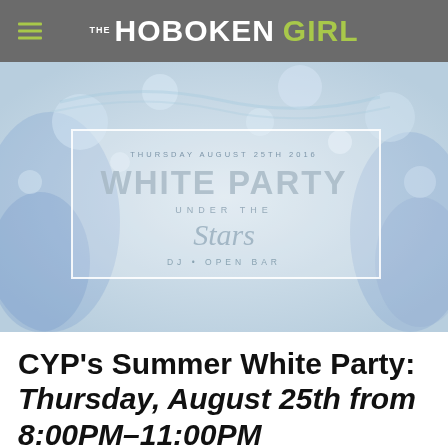THE HOBOKEN GIRL
[Figure (photo): White Party Under the Stars event flyer with bokeh background — text reads: THURSDAY AUGUST 25TH 2016 / WHITE PARTY / UNDER THE / Stars / DJ • OPEN BAR]
CYP's Summer White Party: Thursday, August 25th from 8:00PM–11:00PM